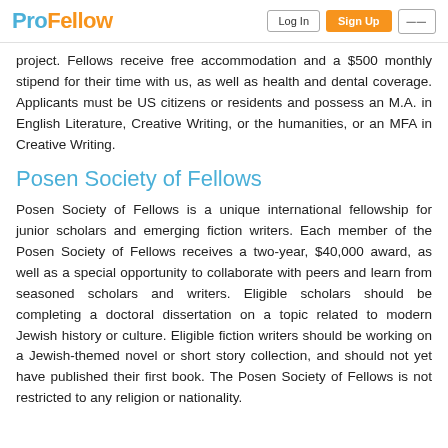ProFellow | Log In | Sign Up
project. Fellows receive free accommodation and a $500 monthly stipend for their time with us, as well as health and dental coverage. Applicants must be US citizens or residents and possess an M.A. in English Literature, Creative Writing, or the humanities, or an MFA in Creative Writing.
Posen Society of Fellows
Posen Society of Fellows is a unique international fellowship for junior scholars and emerging fiction writers. Each member of the Posen Society of Fellows receives a two-year, $40,000 award, as well as a special opportunity to collaborate with peers and learn from seasoned scholars and writers. Eligible scholars should be completing a doctoral dissertation on a topic related to modern Jewish history or culture. Eligible fiction writers should be working on a Jewish-themed novel or short story collection, and should not yet have published their first book. The Posen Society of Fellows is not restricted to any religion or nationality.